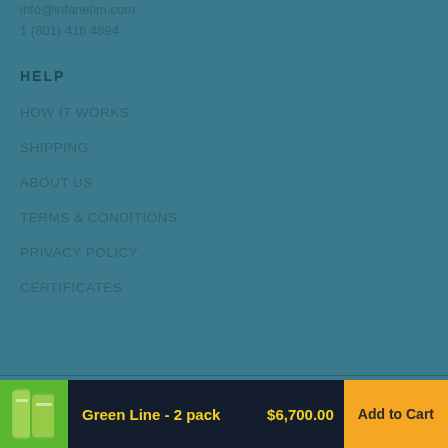info@infanetim.com
1 (801) 416 4894
HELP
HOW IT WORKS
SHIPPING
ABOUT US
TERMS & CONDITIONS
PRIVACY POLICY
CERTIFICATES
© 2022 INFANETIM Technology
Green Line - 2 pack   $6,700.00   Add to Cart